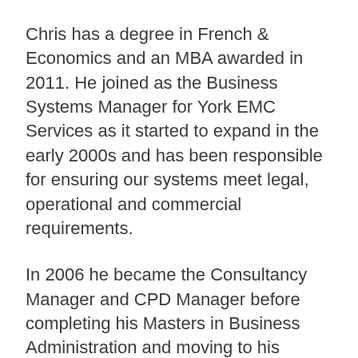Chris has a degree in French & Economics and an MBA awarded in 2011. He joined as the Business Systems Manager for York EMC Services as it started to expand in the early 2000s and has been responsible for ensuring our systems meet legal, operational and commercial requirements.
In 2006 he became the Consultancy Manager and CPD Manager before completing his Masters in Business Administration and moving to his current post in 2012. Chris now oversees the strategic direction of the Expert Services, Training and Test Instrumentation Departments within Eurofins York, additionally performing the